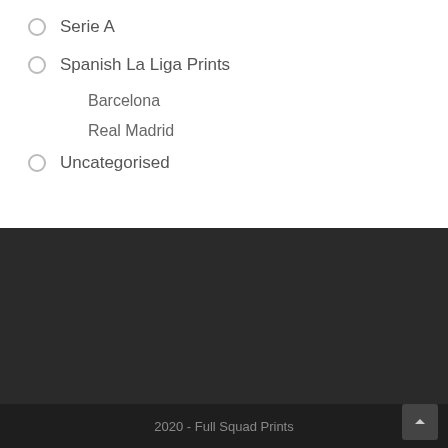Serie A
Spanish La Liga Prints
Barcelona
Real Madrid
Uncategorised
2020 - Full Squad Prints